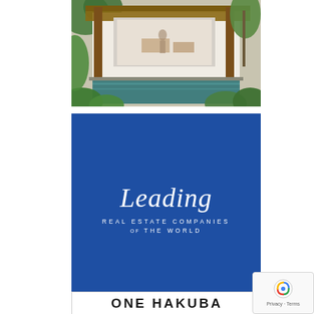[Figure (photo): Tropical luxury villa with pool, lush greenery and open sliding doors showing interior living area]
[Figure (logo): Leading Real Estate Companies of the World logo on blue background, script 'Leading' text with sans-serif subtitle]
ONE HAKUBA